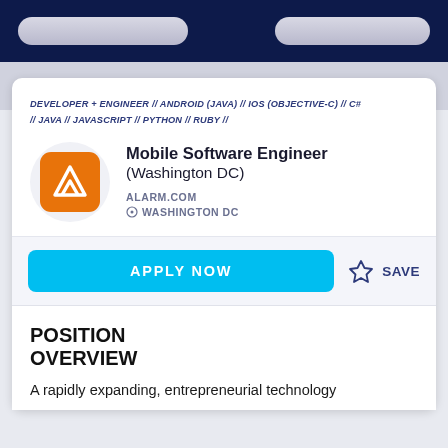DEVELOPER + ENGINEER // ANDROID (JAVA) // IOS (OBJECTIVE-C) // C# // JAVA // JAVASCRIPT // PYTHON // RUBY //
Mobile Software Engineer (Washington DC)
ALARM.COM
⊙ WASHINGTON DC
APPLY NOW
☆ SAVE
POSITION OVERVIEW
A rapidly expanding, entrepreneurial technology